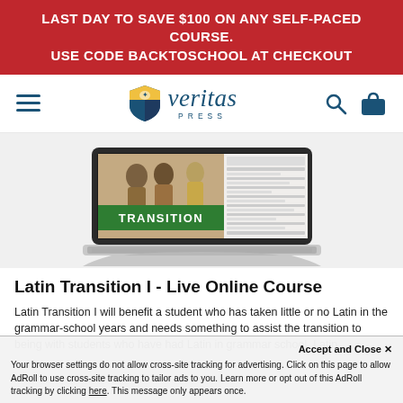LAST DAY TO SAVE $100 ON ANY SELF-PACED COURSE. USE CODE BACKTOSCHOOL AT CHECKOUT
[Figure (logo): Veritas Press logo with shield icon, italic 'veritas' text and 'PRESS' below]
[Figure (screenshot): Laptop displaying a Latin Transition course page with Roman mosaic imagery and a green TRANSITION banner]
Latin Transition I - Live Online Course
Latin Transition I will benefit a student who has taken little or no Latin in the grammar-school years and needs something to assist the transition to being with students who have had Latin in grammar school. Latin ...
Accept and Close ✕
Your browser settings do not allow cross-site tracking for advertising. Click on this page to allow AdRoll to use cross-site tracking to tailor ads to you. Learn more or opt out of this AdRoll tracking by clicking here. This message only appears once.